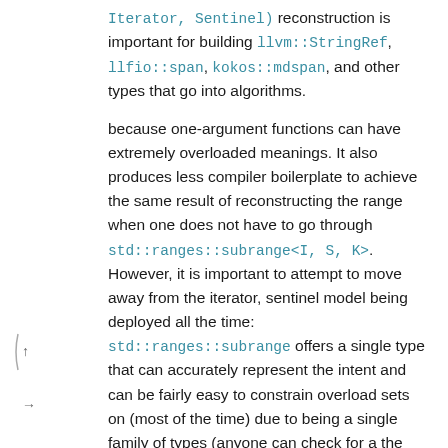Iterator, Sentinel) reconstruction is important for building llvm::StringRef, llfio::span, kokos::mdspan, and other types that go into algorithms.
because one-argument functions can have extremely overloaded meanings. It also produces less compiler boilerplate to achieve the same result of reconstructing the range when one does not have to go through std::ranges::subrange<I, S, K>. However, it is important to attempt to move away from the iterator, sentinel model being deployed all the time: std::ranges::subrange offers a single type that can accurately represent the intent and can be fairly easy to constrain overload sets on (most of the time) due to being a single family of types (anyone can check for a the type being a specialization of ranges::subrange, whereas iterators span multiple different families of types).